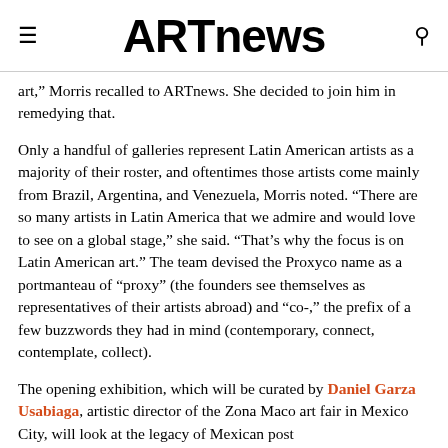ARTnews
art,” Morris recalled to ARTnews. She decided to join him in remedying that.
Only a handful of galleries represent Latin American artists as a majority of their roster, and oftentimes those artists come mainly from Brazil, Argentina, and Venezuela, Morris noted. “There are so many artists in Latin America that we admire and would love to see on a global stage,” she said. “That’s why the focus is on Latin American art.” The team devised the Proxyco name as a portmanteau of “proxy” (the founders see themselves as representatives of their artists abroad) and “co-,” the prefix of a few buzzwords they had in mind (contemporary, connect, contemplate, collect).
The opening exhibition, which will be curated by Daniel Garza Usabiaga, artistic director of the Zona Maco art fair in Mexico City, will look at the legacy of Mexican post...